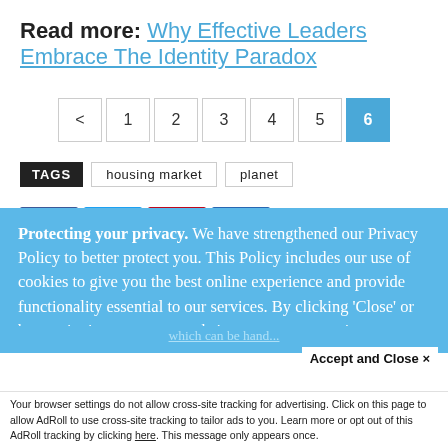Read more: Why Effective Leaders Embrace The Identity Paradox
< 1 2 3 4 5 6 (pagination)
TAGS   housing market   planet
Protecting your privacy. We have strengthened our Privacy Policy to better protect you. This Policy includes our use of cookies to give you the best online experience and provide functionality essential to our services. By clicking 'Close' or by continuing to use our website, you are consenting to our
Accept and Close ×
Your browser settings do not allow cross-site tracking for advertising. Click on this page to allow AdRoll to use cross-site tracking to tailor ads to you. Learn more or opt out of this AdRoll tracking by clicking here. This message only appears once.